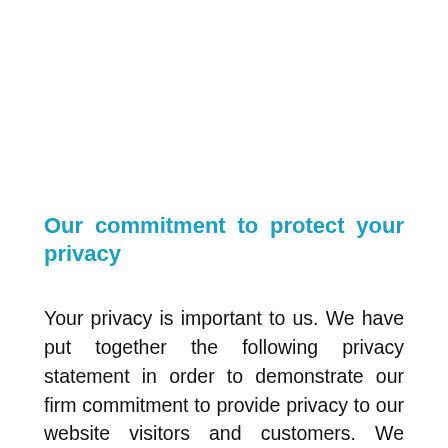Our commitment to protect your privacy
Your privacy is important to us. We have put together the following privacy statement in order to demonstrate our firm commitment to provide privacy to our website visitors and customers. We understand how important it is to protect your personal information. This